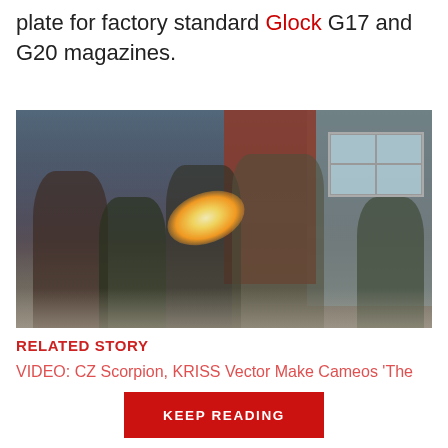plate for factory standard Glock G17 and G20 magazines.
[Figure (photo): Action scene showing multiple armed figures in a street confrontation outside a brick and gray building, with a prominent muzzle flash in the center foreground.]
RELATED STORY
VIDEO: CZ Scorpion, KRISS Vector Make Cameos 'The
KEEP READING